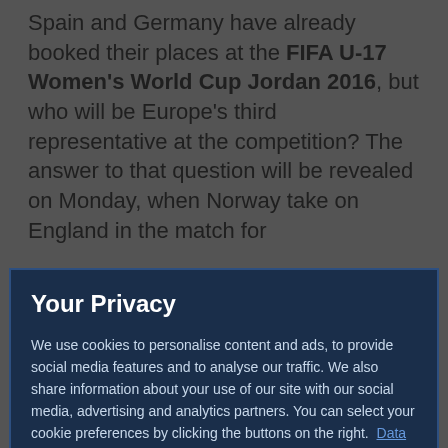Spain and Germany have already booked their places at the FIFA U-17 Women's World Cup Jordan 2016, but who will be Europe's third representative at the competition? The answer to that question will be revealed on Monday, when Norway take on England in the match for
Your Privacy
We use cookies to personalise content and ads, to provide social media features and to analyse our traffic. We also share information about your use of our site with our social media, advertising and analytics partners. You can select your cookie preferences by clicking the buttons on the right.  Data Protection Portal
Preference Center
Reject All
I'm OK with that